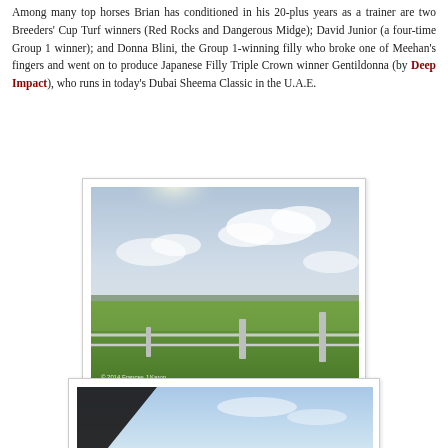Among many top horses Brian has conditioned in his 20-plus years as a trainer are two Breeders' Cup Turf winners (Red Rocks and Dangerous Midge); David Junior (a four-time Group 1 winner); and Donna Blini, the Group 1-winning filly who broke one of Meehan's fingers and went on to produce Japanese Filly Triple Crown winner Gentildonna (by Deep Impact), who runs in today's Dubai Sheema Classic in the U.A.E.
[Figure (photo): Outdoor photograph of a green grass racing track with white rail fencing in the foreground, wide open landscape with trees along the horizon, and a bright cloudy sky. A small copyright watermark reads '© 2014 Frances J Karon'.]
[Figure (photo): Partial photograph visible at bottom of page, showing a blue sky, partially obscured by a dark object in the upper left corner (possibly taken from inside a vehicle).]